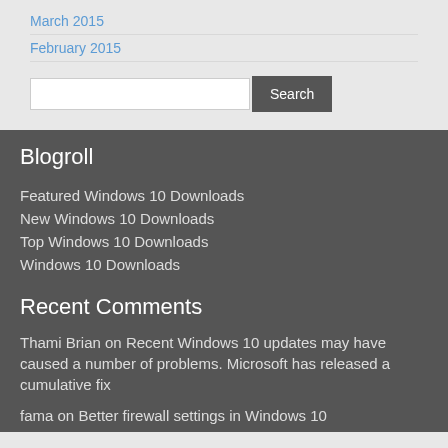March 2015
February 2015
Blogroll
Featured Windows 10 Downloads
New Windows 10 Downloads
Top Windows 10 Downloads
Windows 10 Downloads
Recent Comments
Thami Brian on Recent Windows 10 updates may have caused a number of problems. Microsoft has released a cumulative fix
fama on Better firewall settings in Windows 10